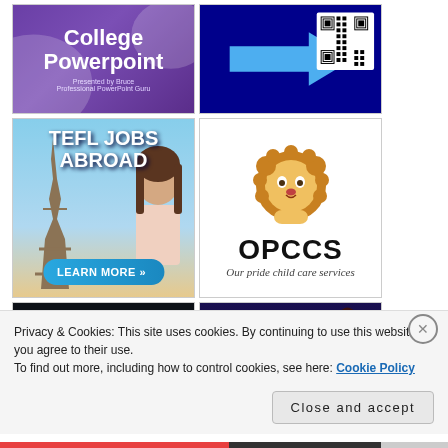[Figure (screenshot): College Powerpoint purple gradient banner with text 'College Powerpoint Presented by Bruce Professional PowerPoint Guru']
[Figure (screenshot): Dark blue background with blue arrow pointing right and QR code on the right side]
[Figure (screenshot): TEFL JOBS ABROAD advertisement with woman near Eiffel Tower and 'LEARN MORE' button]
[Figure (logo): OPCCS - Our pride child care services logo with cute cartoon lion]
[Figure (screenshot): Watch ZorasCove with me on Twitch! - teal snake character on dark background]
[Figure (screenshot): SHERA ALI - colorful teals and person wearing VR headset on dark blue background]
Privacy & Cookies: This site uses cookies. By continuing to use this website, you agree to their use.
To find out more, including how to control cookies, see here: Cookie Policy
Close and accept